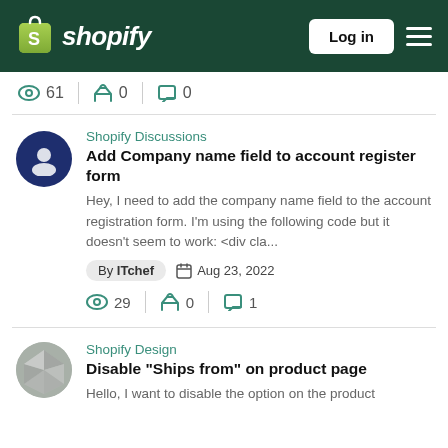Shopify — Log in
61 views | 0 likes | 0 comments
Shopify Discussions
Add Company name field to account register form
Hey, I need to add the company name field to the account registration form. I'm using the following code but it doesn't seem to work: <div cla...
By ITchef  Aug 23, 2022
29 views | 0 likes | 1 comment
Shopify Design
Disable "Ships from" on product page
Hello, I want to disable the option on the product